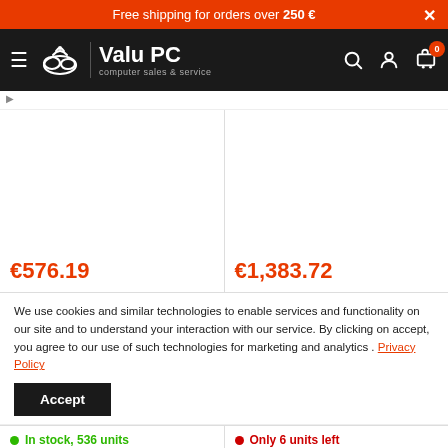Free shipping for orders over 250 €
[Figure (logo): Valu PC logo with cloud/wifi icon and tagline 'computer sales & service' on dark navbar]
[Figure (other): Two product image cells showing prices €576.19 and €1,383.72]
We use cookies and similar technologies to enable services and functionality on our site and to understand your interaction with our service. By clicking on accept, you agree to our use of such technologies for marketing and analytics . Privacy Policy
Accept
In stock, 536 units
Only 6 units left